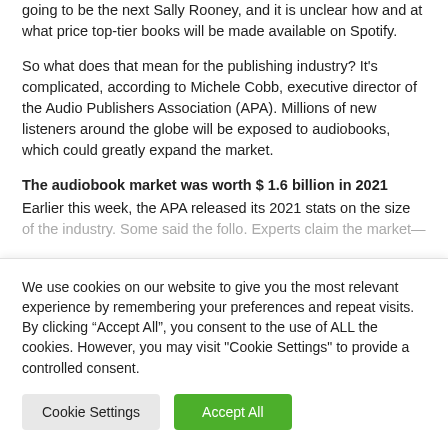going to be the next Sally Rooney, and it is unclear how and at what price top-tier books will be made available on Spotify.
So what does that mean for the publishing industry? It's complicated, according to Michele Cobb, executive director of the Audio Publishers Association (APA). Millions of new listeners around the globe will be exposed to audiobooks, which could greatly expand the market.
The audiobook market was worth $ 1.6 billion in 2021
Earlier this week, the APA released its 2021 stats on the size of the industry. Some said the follow. Experts claim the market...
We use cookies on our website to give you the most relevant experience by remembering your preferences and repeat visits. By clicking “Accept All”, you consent to the use of ALL the cookies. However, you may visit "Cookie Settings" to provide a controlled consent.